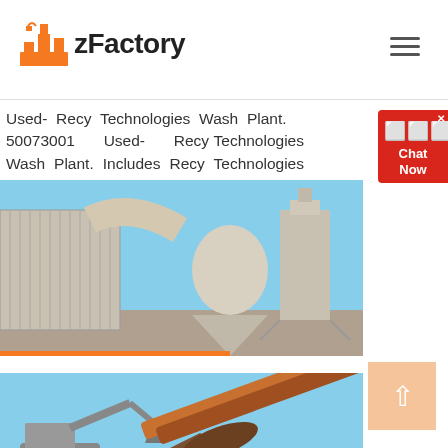zFactory
Used- Recy Technologies Wash Plant. 50073001 Used- Recy Technologies Wash Plant. Includes Recy Technologies clean PET
[Figure (photo): Industrial wash plant machinery with silos, conveyors and ductwork against a blue sky background]
[Figure (photo): Excavator and conveyor/screening equipment at a demolition or recycling site]